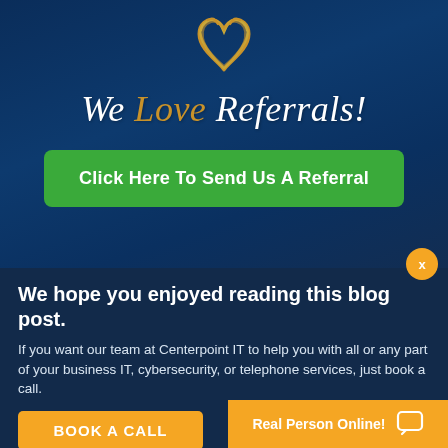[Figure (logo): Gold cursive heart logo icon at top center]
We Love Referrals!
Click Here To Send Us A Referral
We hope you enjoyed reading this blog post.
If you want our team at Centerpoint IT to help you with all or any part of your business IT, cybersecurity, or telephone services, just book a call.
BOOK A CALL
Real Person Online!